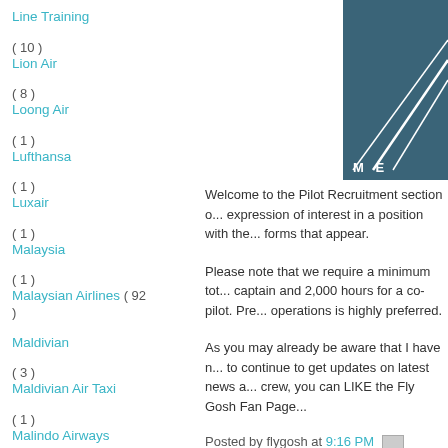Line Training ( 10 )
Lion Air ( 8 )
Loong Air ( 1 )
Lufthansa ( 1 )
Luxair ( 1 )
Malaysia ( 1 )
Malaysian Airlines ( 92 )
Maldivian ( 3 )
Maldivian Air Taxi ( 1 )
Malindo Airways ( 48 )
Mandala Airlines ( 1 )
MasWings ( 22 )
Mega Maldives ( 5 )
Merpati Airlines ( 3 )
Metrojet ( 7 )
[Figure (logo): Partial logo on dark teal background with diagonal white lines and letters ME]
Welcome to the Pilot Recruitment section of... expression of interest in a position with the... forms that appear.
Please note that we require a minimum total... captain and 2,000 hours for a co-pilot. Pre... operations is highly preferred.
As you may already be aware that I have n... to continue to get updates on latest news a... crew, you can LIKE the Fly Gosh Fan Page...
Posted by flygosh at 9:16 PM